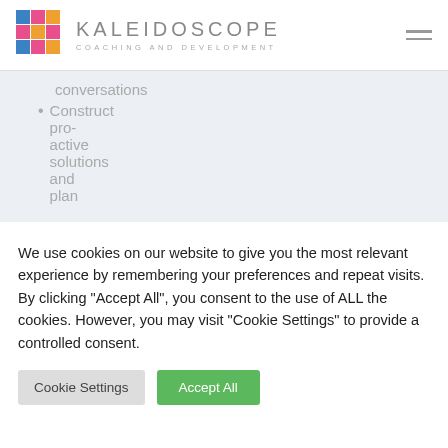[Figure (logo): Kaleidoscope Coaching and Development logo with colorful grid icon and text]
conversations
Construct pro-active solutions and plan
We use cookies on our website to give you the most relevant experience by remembering your preferences and repeat visits. By clicking "Accept All", you consent to the use of ALL the cookies. However, you may visit "Cookie Settings" to provide a controlled consent.